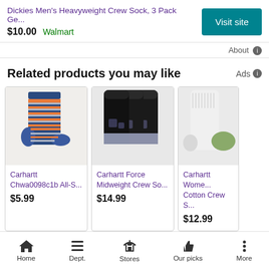Dickies Men's Heavyweight Crew Sock, 3 Pack Ge...
$10.00  Walmart
Visit site
About
Related products you may like
Ads
[Figure (photo): Colorful striped crew sock - Carhartt Chwa0098c1b All-S...]
Carhartt Chwa0098c1b All-S...
$5.99
[Figure (photo): Three black midweight crew socks - Carhartt Force Midweight Crew So...]
Carhartt Force Midweight Crew So...
$14.99
[Figure (photo): White cotton crew sock - Carhartt Wome... Cotton Crew S...]
Carhartt Wome... Cotton Crew S...
$12.99
Home  Dept.  Stores  Our picks  More